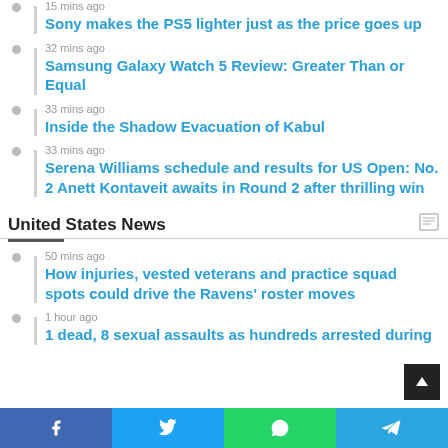15 mins ago
Sony makes the PS5 lighter just as the price goes up
32 mins ago
Samsung Galaxy Watch 5 Review: Greater Than or Equal
33 mins ago
Inside the Shadow Evacuation of Kabul
33 mins ago
Serena Williams schedule and results for US Open: No. 2 Anett Kontaveit awaits in Round 2 after thrilling win
United States News
50 mins ago
How injuries, vested veterans and practice squad spots could drive the Ravens' roster moves
1 hour ago
1 dead, 8 sexual assaults as hundreds arrested during